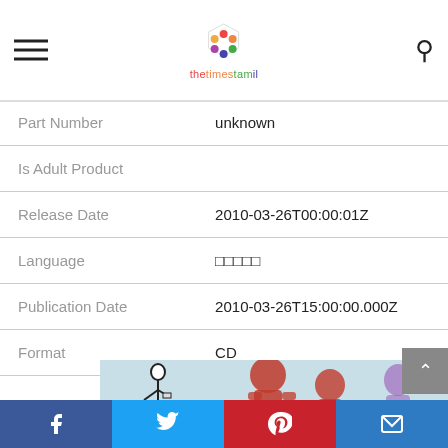thetimestamil
| Part Number | unknown |
| Is Adult Product |  |
| Release Date | 2010-03-26T00:00:01Z |
| Language | □□□□□ |
| Publication Date | 2010-03-26T15:00:00.000Z |
| Format | CD |
[Figure (illustration): Illustration showing cartoon-style figures on a light blue background: a black stick-figure character on the left, a red abstract figure in the center, and a partial purple figure on the right.]
Facebook Twitter Pinterest Email social share bar